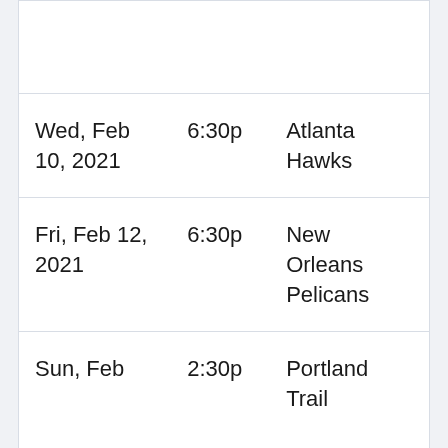| Date | Time | Opponent |
| --- | --- | --- |
|  |  |  |
| Wed, Feb 10, 2021 | 6:30p | Atlanta Hawks |
| Fri, Feb 12, 2021 | 6:30p | New Orleans Pelicans |
| Sun, Feb | 2:30p | Portland Trail |